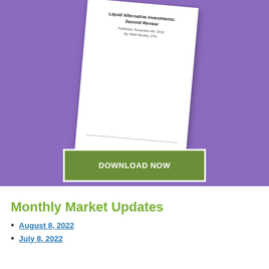[Figure (illustration): Purple banner background with a tilted white document/report cover titled 'Liquid Alternative Investments: Second Review' with a green 'DOWNLOAD NOW' button below the document]
Monthly Market Updates
August 8, 2022
July 8, 2022